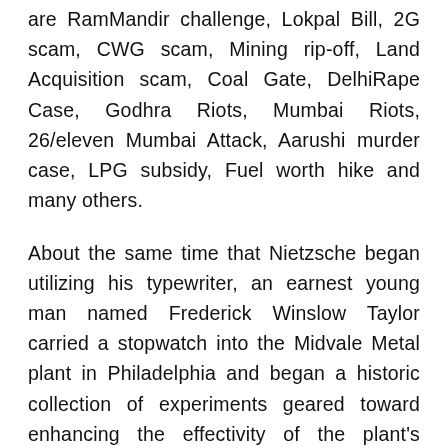are RamMandir challenge, Lokpal Bill, 2G scam, CWG scam, Mining rip-off, Land Acquisition scam, Coal Gate, DelhiRape Case, Godhra Riots, Mumbai Riots, 26/eleven Mumbai Attack, Aarushi murder case, LPG subsidy, Fuel worth hike and many others.
About the same time that Nietzsche began utilizing his typewriter, an earnest young man named Frederick Winslow Taylor carried a stopwatch into the Midvale Metal plant in Philadelphia and began a historic collection of experiments geared toward enhancing the effectivity of the plant's machinists. With the approval of Midvale's house owners, he recruited a group of factory arms, set them to work on various metalworking machines, and recorded and timed their each movement as well as the operations of the machines.